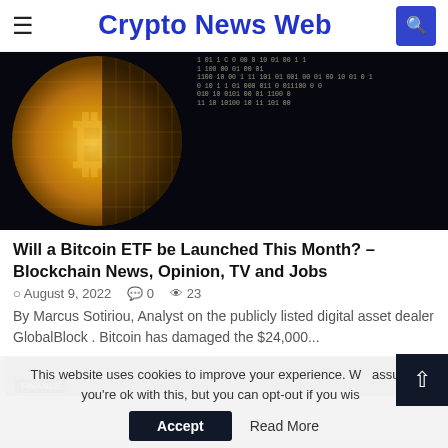Crypto News Web
[Figure (photo): Bitcoin gold coin against a dark background with binary code overlay]
Will a Bitcoin ETF be Launched This Month? – Blockchain News, Opinion, TV and Jobs
August 9, 2022  0  23
By Marcus Sotiriou, Analyst on the publicly listed digital asset dealer GlobalBlock . Bitcoin has damaged the $24,000...
[Figure (screenshot): Partial view of next article card with grey background and FINANCE tag]
This website uses cookies to improve your experience. We assume you're ok with this, but you can opt-out if you wish.
Accept   Read More